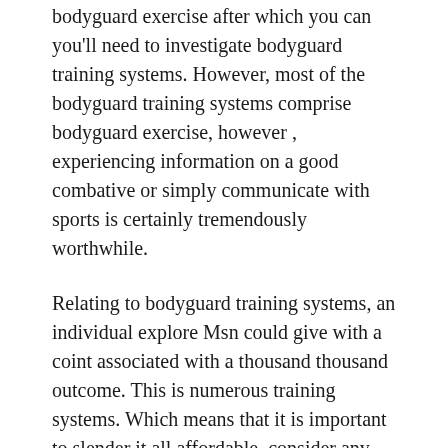bodyguard exercise after which you can you'll need to investigate bodyguard training systems. However, most of the bodyguard training systems comprise bodyguard exercise, however , experiencing information on a good combative or simply communicate with sports is certainly tremendously worthwhile.
Relating to bodyguard training systems, an individual explore Msn could give with a coint associated with a thousand thousand outcome. This is numerous training systems. Which means that it is important to slender it all affordable, consider any ‘about us’ department together with test what precisely in business working experience this business own, look at what person an individual’s lecturers shall be, test they own good coverage together with research for reports with consumers presently experienced. If you can’t get these five